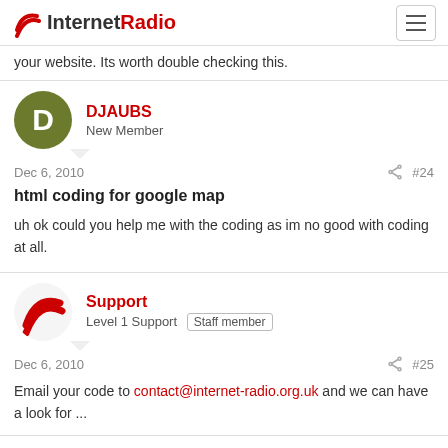InternetRadio
your website. Its worth double checking this.
DJAUBS
New Member
Dec 6, 2010  #24
html coding for google map
uh ok could you help me with the coding as im no good with coding at all.
Support
Level 1 Support  Staff member
Dec 6, 2010  #25
Email your code to contact@internet-radio.org.uk and we can have a look for ...